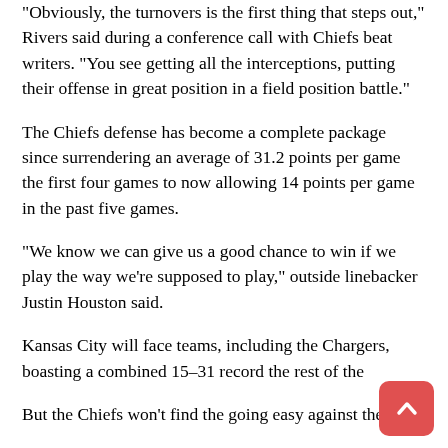“Obviously, the turnovers is the first thing that steps out,” Rivers said during a conference call with Chiefs beat writers. “You see getting all the interceptions, putting their offense in great position in a field position battle.”
The Chiefs defense has become a complete package since surrendering an average of 31.2 points per game the first four games to now allowing 14 points per game in the past five games.
“We know we can give us a good chance to win if we play the way we’re supposed to play,” outside linebacker Justin Houston said.
Kansas City will face teams, including the Chargers, boasting a combined 15–31 record the rest of the
But the Chiefs won’t find the going easy against the